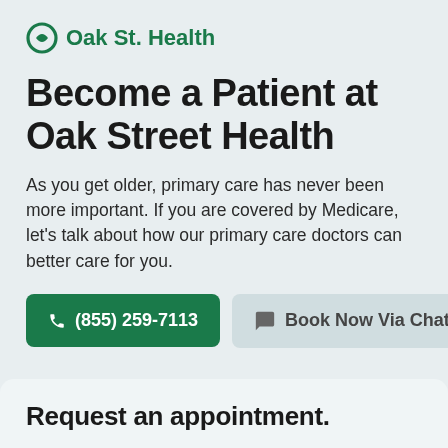[Figure (logo): Oak St. Health logo with circular icon and text]
Become a Patient at Oak Street Health
As you get older, primary care has never been more important. If you are covered by Medicare, let's talk about how our primary care doctors can better care for you.
(855) 259-7113
Book Now Via Chat
Request an appointment.